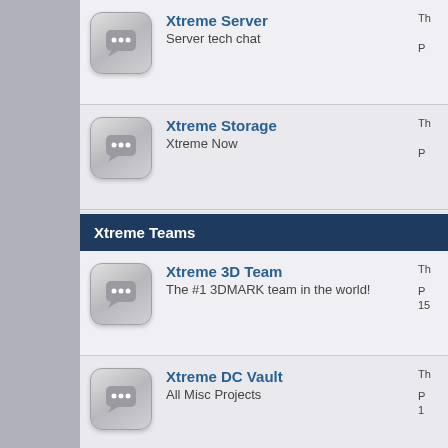Xtreme Server — Server tech chat
Xtreme Storage — Xtreme Now
Xtreme Teams
Xtreme 3D Team — The #1 3DMARK team in the world!
Xtreme DC Vault — All Misc Projects
World Community Grid (WCG) — Help fight cancer and aids